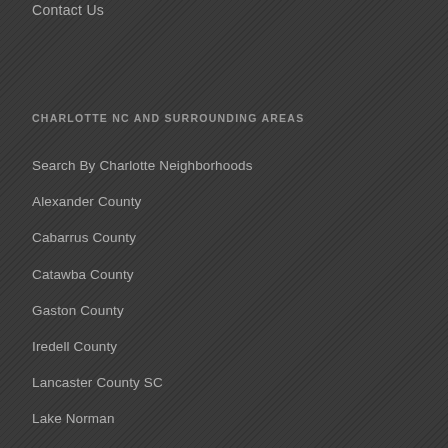Contact Us
CHARLOTTE NC AND SURROUNDING AREAS
Search By Charlotte Neighborhoods
Alexander County
Cabarrus County
Catawba County
Gaston County
Iredell County
Lancaster County SC
Lake Norman
Lake Wylie
Mecklenburg County